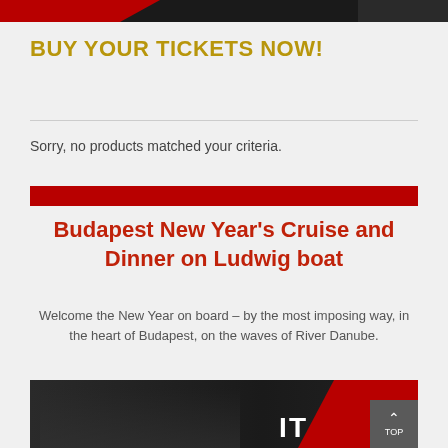[Figure (photo): Dark banner image at top of page with red diagonal stripe on left and smaller dark block on right]
BUY YOUR TICKETS NOW!
Sorry, no products matched your criteria.
[Figure (other): Solid red horizontal bar divider]
Budapest New Year's Cruise and Dinner on Ludwig boat
Welcome the New Year on board – by the most imposing way, in the heart of Budapest, on the waves of River Danube.
[Figure (photo): Dark nighttime photo of Budapest river cruise with red diagonal banner overlay showing partial text, and a grey TOP button in bottom right corner]